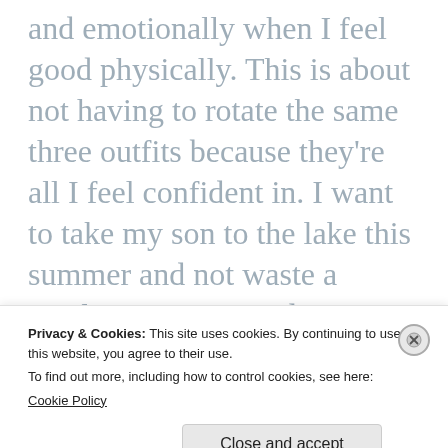and emotionally when I feel good physically. This is about not having to rotate the same three outfits because they're all I feel confident in. I want to take my son to the lake this summer and not waste a single moment wondering what my thighs look like in my bathing suit. But most of all, this is about showing myself the same amount of love that I show everyone else in my life. I deserve
Privacy & Cookies: This site uses cookies. By continuing to use this website, you agree to their use.
To find out more, including how to control cookies, see here: Cookie Policy
Close and accept